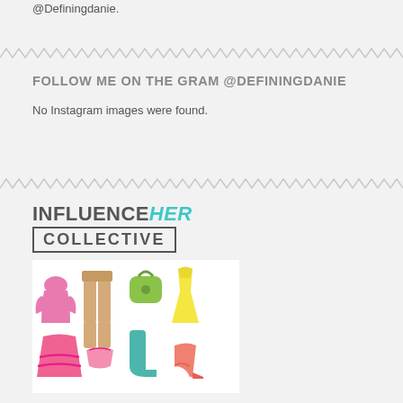@Definingdanie.
FOLLOW ME ON THE GRAM @DEFININGDANIE
No Instagram images were found.
[Figure (logo): InfluenceHER Collective logo with fashion clothing illustrations including a pink top, tan pants, green handbag, yellow dress, pink skirt, pink underwear, teal boot, and coral heel.]